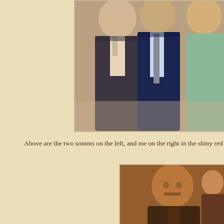[Figure (photo): Three men posing together. Left man in dark suit, center man in navy suit with grey tie, right person in light green shirt and brown leather jacket.]
Above are the two somms on the left, and me on the right in the shiny red
[Figure (photo): Close-up of an Asian man smiling, wearing a dark leather jacket with decorative details, with another person partially visible in the background.]